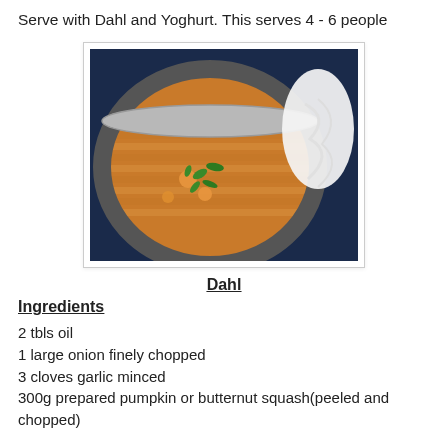Serve with Dahl and Yoghurt. This serves 4 - 6 people
[Figure (photo): Overhead photo of a bowl of dahl (lentil soup) garnished with fresh herbs, with a portion of yoghurt visible on the side on a blue background.]
Dahl
Ingredients
2 tbls oil
1 large onion finely chopped
3 cloves garlic minced
300g prepared pumpkin or butternut squash(peeled and chopped)